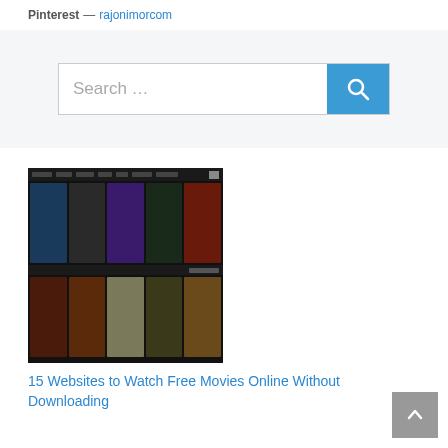Pinterest — rajonimorcom
[Figure (screenshot): Search bar with placeholder text 'Search ...' and a blue search button with magnifying glass icon, on a light gray background]
[Figure (screenshot): Screenshot of a movie streaming website showing a grid of movie posters on a dark background]
15 Websites to Watch Free Movies Online Without Downloading